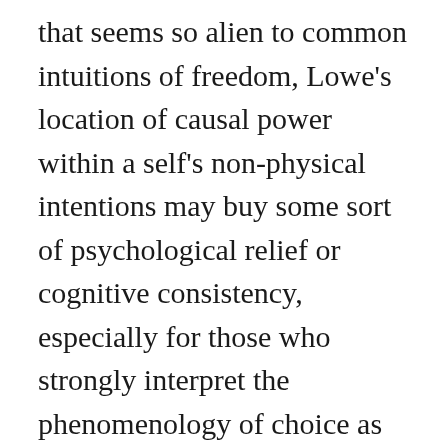that seems so alien to common intuitions of freedom, Lowe's location of causal power within a self's non-physical intentions may buy some sort of psychological relief or cognitive consistency, especially for those who strongly interpret the phenomenology of choice as the mental 'I' controlling the physical body. Well and good, but what about the issue of ultimate freedom? Are intentions any less conditioned by the context in which they arise simply by virtue of their non-physical status? Does the self and its attributes, even if not